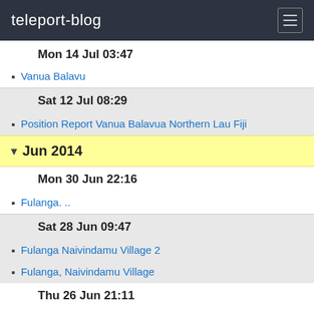teleport-blog
Mon 14 Jul 03:47
Vanua Balavu
Sat 12 Jul 08:29
Position Report Vanua Balavua Northern Lau Fiji
Jun 2014
Mon 30 Jun 22:16
Fulanga. ..
Sat 28 Jun 09:47
Fulanga Naivindamu Village 2
Fulanga, Naivindamu Village
Thu 26 Jun 21:11
Fulanga snorkelling
Tue 24 Jun 21:49
Picnic,picnic,picnic. ... Fulanga
Mon 23 Jun 21:27